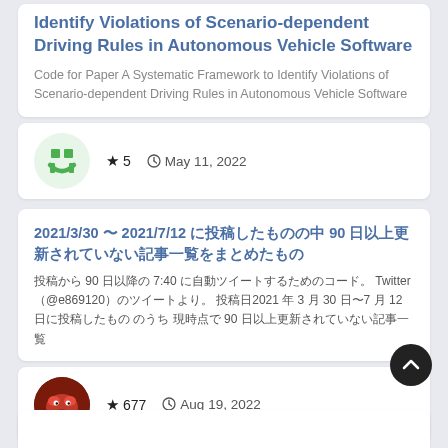Code for Paper A Systematic Framework to Identify Violations of Scenario-dependent Driving Rules in Autonomous Vehicle Software
Code for Paper A Systematic Framework to Identify Violations of Scenario-dependent Driving Rules in Autonomous Vehicle Software
★ 5   🕐 May 11, 2022
2021/3/30 〜 2021/7/12 に投稿したものの中 90 日以上更新されていない記事一覧をまとめたもの
投稿から 90 日以降の 7:40 に自動ツイートするためのコード。 Twitter（@e869120）のツイートより。 投稿日2021 年 3 月 30 日〜7 月 12 日に投稿したもの のうち 現時点で 90 日以上更新されていない記事一覧
★ 677   🕐 Aug 19, 2022